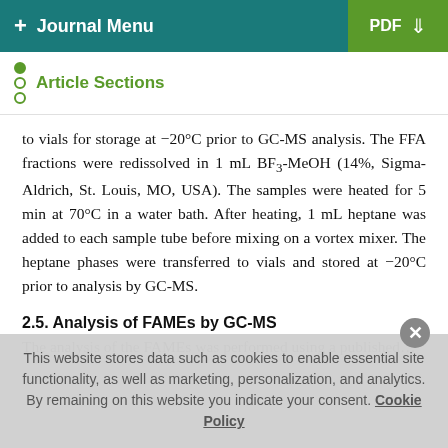+ Journal Menu | PDF ↓
Article Sections
to vials for storage at −20°C prior to GC-MS analysis. The FFA fractions were redissolved in 1 mL BF₃-MeOH (14%, Sigma-Aldrich, St. Louis, MO, USA). The samples were heated for 5 min at 70°C in a water bath. After heating, 1 mL heptane was added to each sample tube before mixing on a vortex mixer. The heptane phases were transferred to vials and stored at −20°C prior to analysis by GC-MS.
2.5. Analysis of FAMEs by GC-MS
This website stores data such as cookies to enable essential site functionality, as well as marketing, personalization, and analytics. By remaining on this website you indicate your consent. Cookie Policy